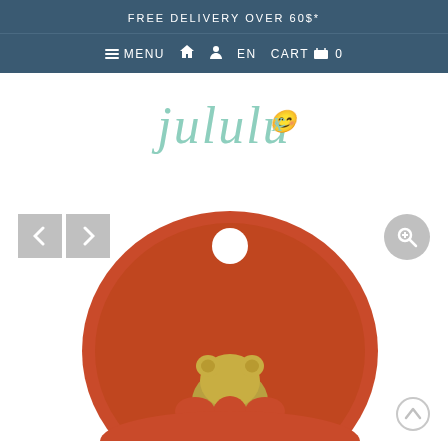FREE DELIVERY OVER 60$*
≡ MENU  🏠  👤  EN  CART  🛒  0
[Figure (logo): Jululu script logo in mint/teal color]
[Figure (photo): Red/terracotta colored baby pacifier with golden bear design, viewed from front showing the round shield and nipple]